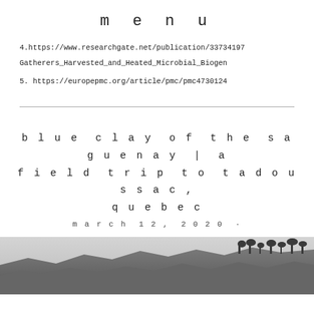menu
4.https://www.researchgate.net/publication/33734197
Gatherers_Harvested_and_Heated_Microbial_Biogen
5. https://europepmc.org/article/pmc/pmc4730124
blue clay of the saguenay | a field trip to tadoussac, quebec
march 12, 2020 ·
[Figure (photo): Landscape photograph showing rocky cliffs or terrain with trees at top, grey sky, monochrome tones]